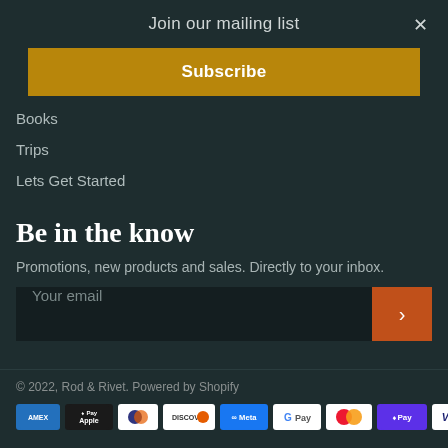Join our mailing list
Subscribe
Books
Trips
Lets Get Started
Be in the know
Promotions, new products and sales. Directly to your inbox.
Your email
© 2022, Rod & Rivet. Powered by Shopify